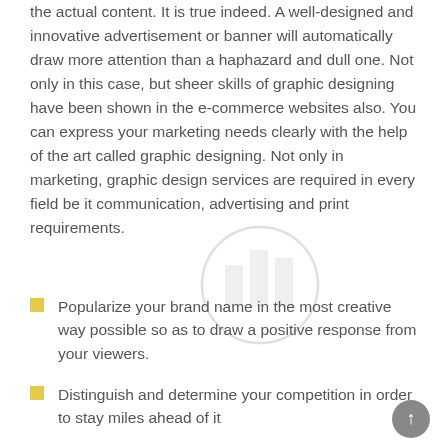the actual content. It is true indeed. A well-designed and innovative advertisement or banner will automatically draw more attention than a haphazard and dull one. Not only in this case, but sheer skills of graphic designing have been shown in the e-commerce websites also. You can express your marketing needs clearly with the help of the art called graphic designing. Not only in marketing, graphic design services are required in every field be it communication, advertising and print requirements.
[Figure (logo): Circular watermark logo with bar chart icon, gray outline]
Popularize your brand name in the most creative way possible so as to draw a positive response from your viewers.
Distinguish and determine your competition in order to stay miles ahead of it
Strengthen your corporate image and maintain a strong communication with all the necessary parties.